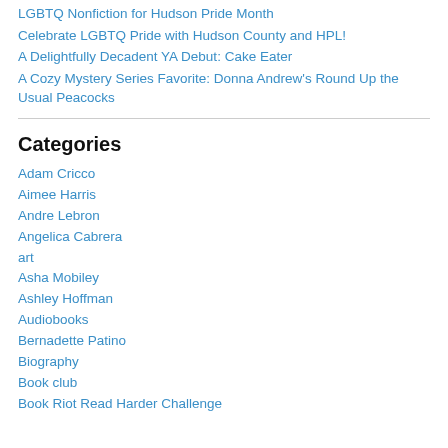LGBTQ Nonfiction for Hudson Pride Month
Celebrate LGBTQ Pride with Hudson County and HPL!
A Delightfully Decadent YA Debut: Cake Eater
A Cozy Mystery Series Favorite: Donna Andrew's Round Up the Usual Peacocks
Categories
Adam Cricco
Aimee Harris
Andre Lebron
Angelica Cabrera
art
Asha Mobiley
Ashley Hoffman
Audiobooks
Bernadette Patino
Biography
Book club
Book Riot Read Harder Challenge